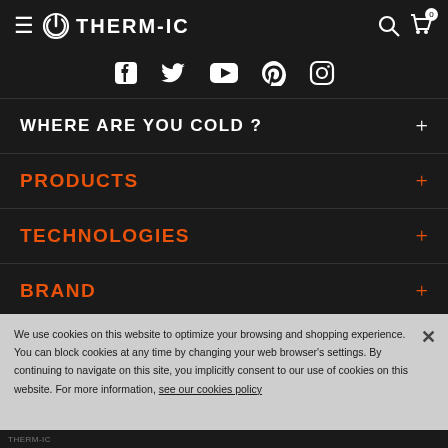THERM-IC
[Figure (logo): Social media icons bar: Facebook, Twitter, YouTube, Pinterest, Instagram]
WHERE ARE YOU COLD ?
PRODUCTS
TECHNOLOGIES
BRAND
We use cookies on this website to optimize your browsing and shopping experience. You can block cookies at any time by changing your web browser's settings. By continuing to navigate on this site, you implicitly consent to our use of cookies on this website. For more information, see our cookies policy
THERM-IC